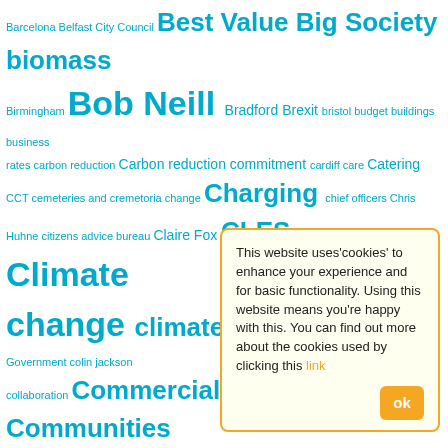[Figure (other): Tag cloud of local government and public policy topics rendered in cyan/teal text at varying font sizes indicating frequency/importance. Terms include: Barcelona, Belfast City Council, Best Value, Big Society, biomass, Birmingham, Bob Neill, Bradford, Brexit, bristol, budget, buildings, business rates, carbon reduction, Carbon reduction commitment, cardiff, care, Catering, CCT, cemeteries and cremetoria, change, Charging, chief officers, Chris Huhne, citizens advice bureau, Claire Fox, CLES, CLG, climate, Climate change, climate emergency, Coalition Government, colin jackson, collaboration, Commercialisation, commercialism, Communities, community benefit, community benefits, community cohesion, community wealth-building, comprehensive spending review, Conservative party, conservatives, construction, Construction cartels, continuous performance improvement, contract management, Co-operatives, co-operative capacity, Cornwall, corproate strategy, council tax, councillors, councils, COSLA, Dave Prentis, Dave Watson, David Cameron, De Montfort University, De Montfort, democracy, Derek Brownlee, devolution, Dumfries and galloway, ecological emergency, economic growth, Economy, elected members, electric fleet, energy efficiency, energy from waste, Enterprise]
This website uses'cookies' to enhance your experience and for basic functionality. Using this website means you're happy with this. You can find out more about the cookies used by clicking this link